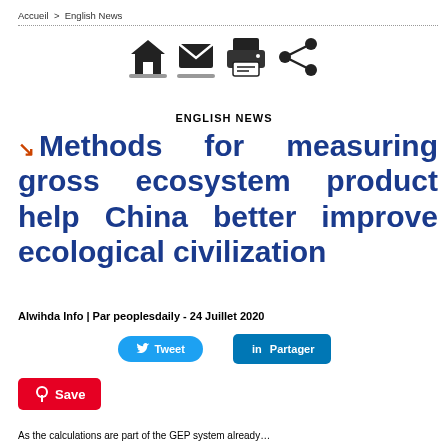Accueil > English News
[Figure (infographic): Row of icons: home, email/envelope, printer, share]
ENGLISH NEWS
Methods for measuring gross ecosystem product help China better improve ecological civilization
Alwihda Info | Par peoplesdaily - 24 Juillet 2020
[Figure (infographic): Tweet and Partager (LinkedIn share) social media buttons]
[Figure (infographic): Pinterest Save button]
As the calculations are part of the GEP system already...